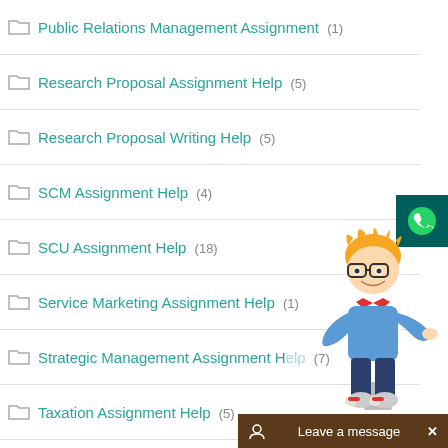Public Relations Management Assignment (1)
Research Proposal Assignment Help (5)
Research Proposal Writing Help (5)
SCM Assignment Help (4)
SCU Assignment Help (18)
Service Marketing Assignment Help (1)
Strategic Management Assignment Help (7)
Taxation Assignment Help (5)
Tourism Assignment Help (3)
Uncategorized (33)
UOP Assignment Help (29)
[Figure (illustration): Cartoon character of a student/tutor with glasses and orange hair, wearing blue shirt and jeans, pointing to the right]
[Figure (illustration): WhatsApp icon button on dark teal background]
Leave a message